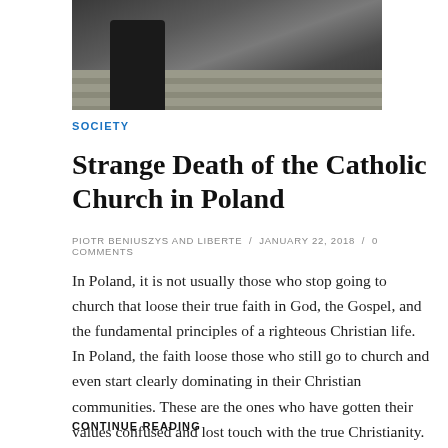[Figure (photo): Person with camera standing on steps, viewed from behind, outdoors]
SOCIETY
Strange Death of the Catholic Church in Poland
PIOTR BENIUSZYS AND LIBERTE / JANUARY 22, 2018 / 0 COMMENTS
In Poland, it is not usually those who stop going to church that loose their true faith in God, the Gospel, and the fundamental principles of a righteous Christian life. In Poland, the faith loose those who still go to church and even start clearly dominating in their Christian communities. These are the ones who have gotten their values confused and lost touch with the true Christianity. They befoul the faith with their hostility and...
CONTINUE READING